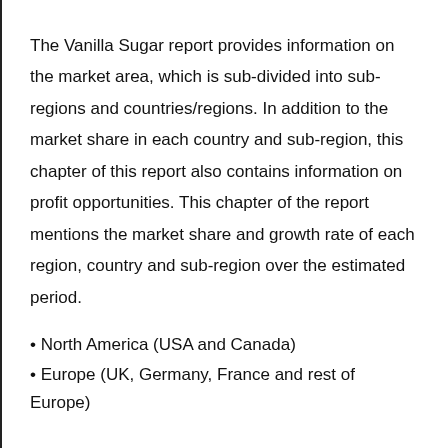The Vanilla Sugar report provides information on the market area, which is sub-divided into sub-regions and countries/regions. In addition to the market share in each country and sub-region, this chapter of this report also contains information on profit opportunities. This chapter of the report mentions the market share and growth rate of each region, country and sub-region over the estimated period.
• North America (USA and Canada)
• Europe (UK, Germany, France and rest of Europe)